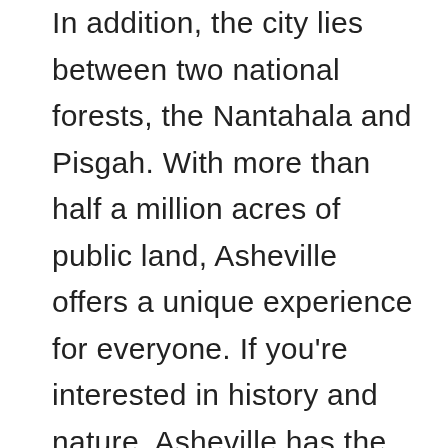In addition, the city lies between two national forests, the Nantahala and Pisgah. With more than half a million acres of public land, Asheville offers a unique experience for everyone. If you're interested in history and nature, Asheville has the perfect combination for you.

If you're a music lover, you can take in some live music at Pack Square Park